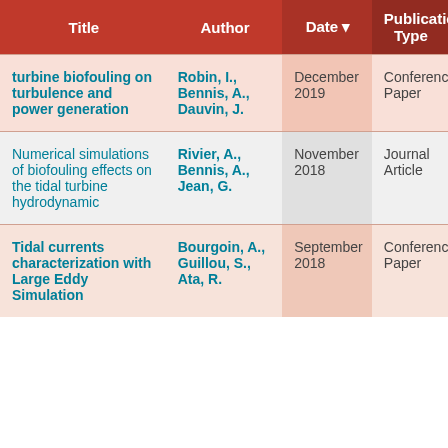| Title | Author | Date ▼ | Publication Type |
| --- | --- | --- | --- |
| turbine biofouling on turbulence and power generation | Robin, I., Bennis, A., Dauvin, J. | December 2019 | Conference Paper |
| Numerical simulations of biofouling effects on the tidal turbine hydrodynamic | Rivier, A., Bennis, A., Jean, G. | November 2018 | Journal Article |
| Tidal currents characterization with Large Eddy Simulation | Bourgoin, A., Guillou, S., Ata, R. | September 2018 | Conference Paper |